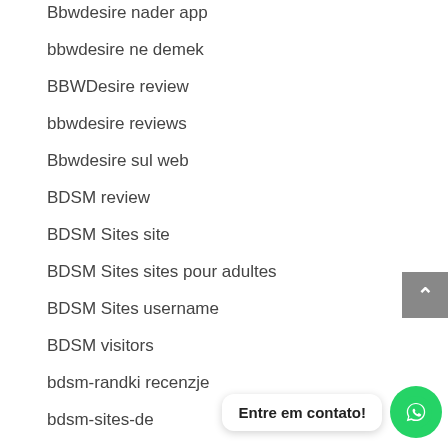Bbwdesire nader app
bbwdesire ne demek
BBWDesire review
bbwdesire reviews
Bbwdesire sul web
BDSM review
BDSM Sites site
BDSM Sites sites pour adultes
BDSM Sites username
BDSM visitors
bdsm-randki recenzje
bdsm-sites-de
be2 code de r?duction
Entre em contato!